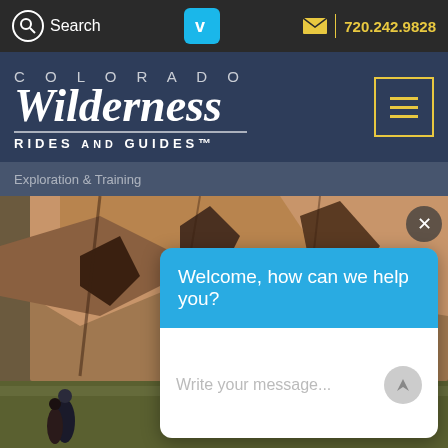Search  |  720.242.9828
[Figure (logo): Colorado Wilderness Rides and Guides logo with hamburger menu button]
Exploration & Training
[Figure (photo): Red rock canyon wall with hikers at bottom left, outdoor landscape photo]
Welcome, how can we help you?
Write your message...